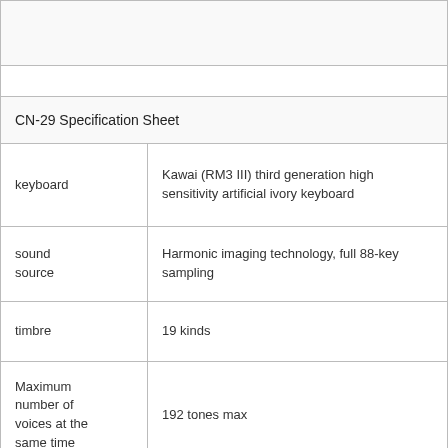|  |  |
| --- | --- |
| CN-29 Specification Sheet |  |
| keyboard | Kawai (RM3 III) third generation high sensitivity artificial ivory keyboard |
| sound source | Harmonic imaging technology, full 88-key sampling |
| timbre | 19 kinds |
| Maximum number of voices at the same time | 192 tones max |
|  | Room, Small Concert Hall, Large Concert Hall, ... |